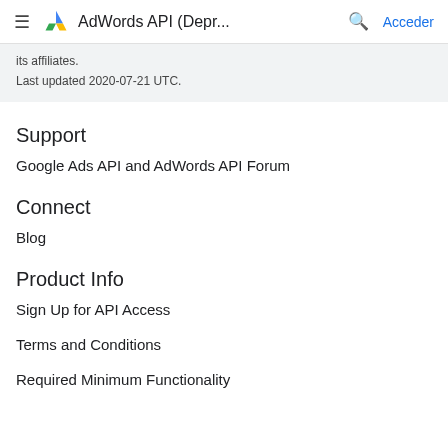AdWords API (Depr...  Acceder
its affiliates.
Last updated 2020-07-21 UTC.
Support
Google Ads API and AdWords API Forum
Connect
Blog
Product Info
Sign Up for API Access
Terms and Conditions
Required Minimum Functionality